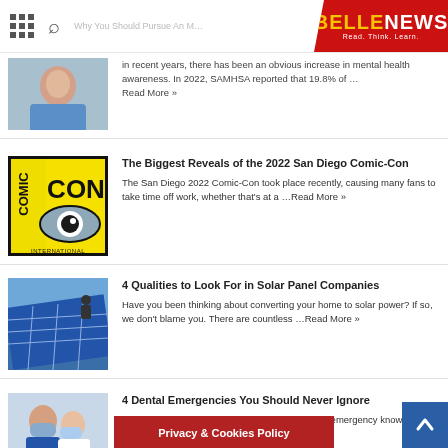BELLENEWS - Read. Think. Learn.
...in recent years, there has been an obvious increase in mental health awareness. In 2022, SAMHSA reported that 19.8% of ... Read More »
[Figure (photo): Woman in blue medical scrubs]
[Figure (logo): Comic-Con International logo with eye graphic]
The Biggest Reveals of the 2022 San Diego Comic-Con
The San Diego 2022 Comic-Con took place recently, causing many fans to take time off work, whether that's at a ...Read More »
[Figure (photo): Solar panels being installed on a roof]
4 Qualities to Look For in Solar Panel Companies
Have you been thinking about converting your home to solar power? If so, we don't blame you. There are countless ...Read More »
[Figure (photo): Two dental professionals in masks]
4 Dental Emergencies You Should Never Ignore
Those who have previously experienced a dental emergency know how impo... dental care.
Privacy & Cookies Policy